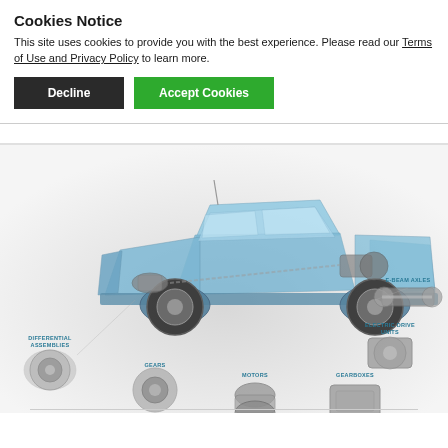Cookies Notice
This site uses cookies to provide you with the best experience. Please read our Terms of Use and Privacy Policy to learn more.
Decline | Accept Cookies
[Figure (illustration): Engineering diagram of a blue semi-transparent pickup truck showing internal drivetrain components, with labeled callouts for: Differential Assemblies, Gears, Motors, Gearboxes, Electric Drive Units, E-Beam Axles. Each callout points to a photo of the physical component.]